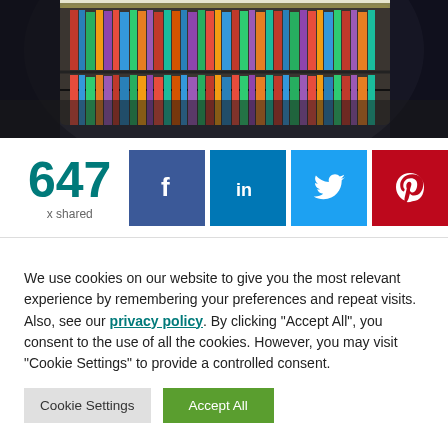[Figure (photo): Library interior with circular fisheye view showing tall bookshelves filled with colorful books and fluorescent lighting.]
647 x shared
[Figure (infographic): Social share buttons: Facebook (blue), LinkedIn (blue), Twitter (light blue), Pinterest (red)]
We use cookies on our website to give you the most relevant experience by remembering your preferences and repeat visits. Also, see our privacy policy. By clicking “Accept All”, you consent to the use of all the cookies. However, you may visit “Cookie Settings” to provide a controlled consent.
Cookie Settings   Accept All